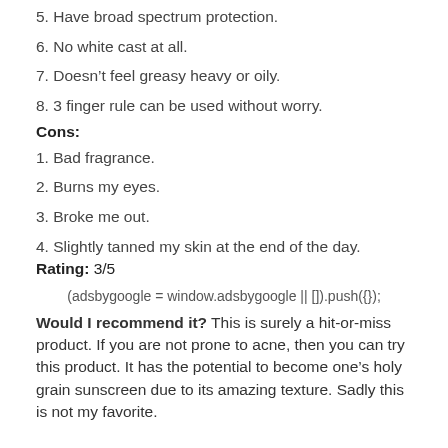5. Have broad spectrum protection.
6. No white cast at all.
7. Doesn't feel greasy heavy or oily.
8. 3 finger rule can be used without worry.
Cons:
1. Bad fragrance.
2. Burns my eyes.
3. Broke me out.
4. Slightly tanned my skin at the end of the day.
Rating: 3/5
(adsbygoogle = window.adsbygoogle || []).push({});
Would I recommend it? This is surely a hit-or-miss product. If you are not prone to acne, then you can try this product. It has the potential to become one's holy grain sunscreen due to its amazing texture. Sadly this is not my favorite.